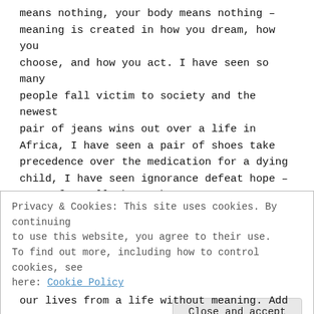means nothing, your body means nothing – meaning is created in how you dream, how you choose, and how you act. I have seen so many people fall victim to society and the newest pair of jeans wins out over a life in Africa, I have seen a pair of shoes take precedence over the medication for a dying child, I have seen ignorance defeat hope – yet, after all that I have seen so many people let go of their name, their material wants, and their incomes and become dedicated to saving lives in Africa. There is a long and terrible past of exploits and
Privacy & Cookies: This site uses cookies. By continuing to use this website, you agree to their use.
To find out more, including how to control cookies, see here: Cookie Policy

Close and accept
our lives from a life without meaning. Add